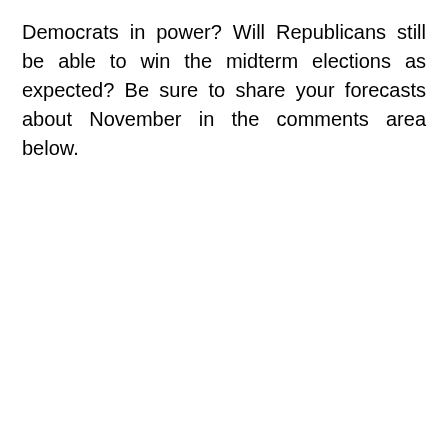Democrats in power? Will Republicans still be able to win the midterm elections as expected? Be sure to share your forecasts about November in the comments area below.